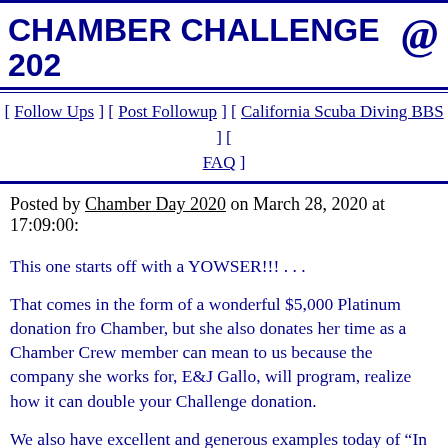CHAMBER CHALLENGE 202 @
[ Follow Ups ] [ Post Followup ] [ California Scuba Diving BBS ] [ FAQ ]
Posted by Chamber Day 2020 on March 28, 2020 at 17:09:00:
This one starts off with a YOWSER!!! . . .
That comes in the form of a wonderful $5,000 Platinum donation fro Chamber, but she also donates her time as a Chamber Crew member can mean to us because the company she works for, E&J Gallo, will program, realize how it can double your Challenge donation.
We also have excellent and generous examples today of “In memory be a member of our Chamber Day Steering Committee). She starts o Conception fire, and then she continues with a pair of $250 Bronze o